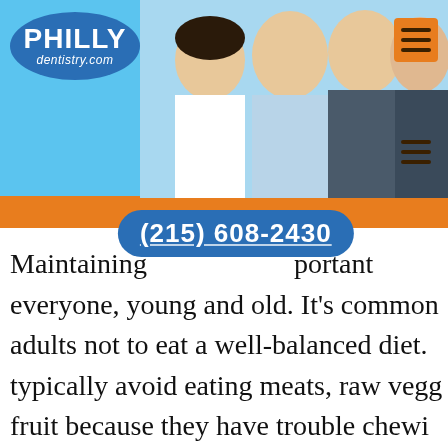[Figure (screenshot): Philly Dentistry website header with logo, photo of dental team (one woman and three men), phone number bubble showing (215) 608-2430, and orange navigation bar]
Maintaining [proper oral health is im]portant for everyone, young and old. It's common for older adults not to eat a well-balanced diet. They typically avoid eating meats, raw vegg[etables], fruit because they have trouble chewi[ng] or swallowing them. Problems like this c[ome] from bad fitting dentures, painful teet[h], changes in facial muscles and even d[ry mouth]. Other older adults find that they lost s[ome] sense of taste due to a disease or spe[cific] medications. By not having a proper h[ealthy] diet, older adults will lack calcium, pro[tein]